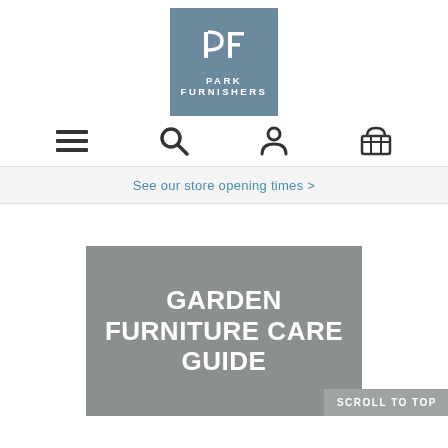[Figure (logo): Park Furnishers logo: steel blue square with white stylized PF monogram and 'PARK FURNISHERS' text below]
[Figure (infographic): Navigation icons row: hamburger menu, search magnifying glass, user/person icon, shopping basket icon]
See our store opening times >
GARDEN FURNITURE CARE GUIDE
SCROLL TO TOP